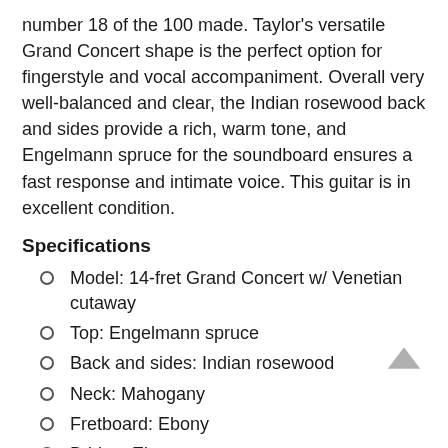number 18 of the 100 made. Taylor's versatile Grand Concert shape is the perfect option for fingerstyle and vocal accompaniment. Overall very well-balanced and clear, the Indian rosewood back and sides provide a rich, warm tone, and Engelmann spruce for the soundboard ensures a fast response and intimate voice. This guitar is in excellent condition.
Specifications
Model: 14-fret Grand Concert w/ Venetian cutaway
Top: Engelmann spruce
Back and sides: Indian rosewood
Neck: Mahogany
Fretboard: Ebony
Bridge: Ebony
Binding: Ivoroid
Purfling and rosette: Abalone
Inlay: Mother of pearl
Scale length: 25-1/2"
Nut width: 1-3/4"